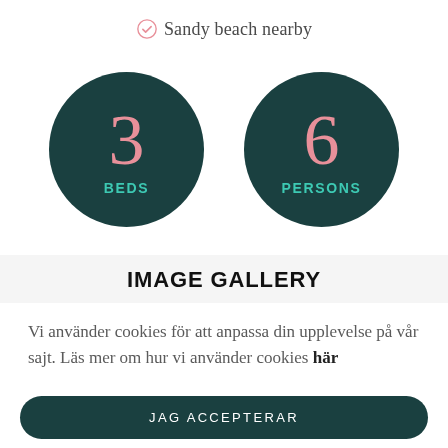Sandy beach nearby
[Figure (infographic): Two dark teal circles side by side. Left circle shows number 3 in pink with 'BEDS' in teal below. Right circle shows number 6 in pink with 'PERSONS' in teal below.]
IMAGE GALLERY
Vi använder cookies för att anpassa din upplevelse på vår sajt. Läs mer om hur vi använder cookies här
JAG ACCEPTERAR